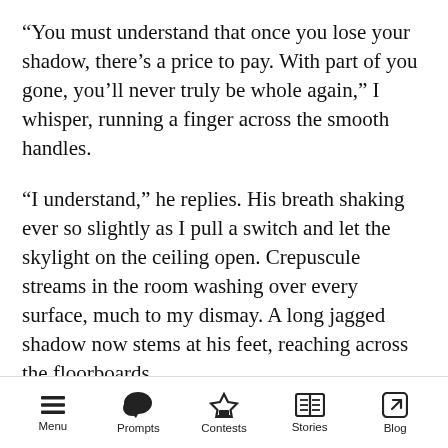“You must understand that once you lose your shadow, there’s a price to pay. With part of you gone, you’ll never truly be whole again,” I whisper, running a finger across the smooth handles.
“I understand,” he replies. His breath shaking ever so slightly as I pull a switch and let the skylight on the ceiling open. Crepuscule streams in the room washing over every surface, much to my dismay. A long jagged shadow now stems at his feet, reaching across the floorboards.
With a deep breath and a quivering hand, I slowly cut away his outline with a horrifying
Menu  Prompts  Contests  Stories  Blog